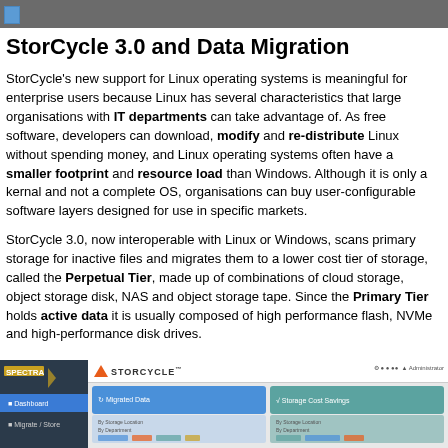StorCycle 3.0 and Data Migration
StorCycle's new support for Linux operating systems is meaningful for enterprise users because Linux has several characteristics that large organisations with IT departments can take advantage of. As free software, developers can download, modify and re-distribute Linux without spending money, and Linux operating systems often have a smaller footprint and resource load than Windows. Although it is only a kernal and not a complete OS, organisations can buy user-configurable software layers designed for use in specific markets.
StorCycle 3.0, now interoperable with Linux or Windows, scans primary storage for inactive files and migrates them to a lower cost tier of storage, called the Perpetual Tier, made up of combinations of cloud storage, object storage disk, NAS and object storage tape. Since the Primary Tier holds active data it is usually composed of high performance flash, NVMe and high-performance disk drives.
[Figure (screenshot): StorCycle software interface screenshot showing the Spectra logo on the left navigation panel with Dashboard and Migrate/Store menu items, and the main StorCycle application window with Migrated Data and Storage Cost Savings cards.]